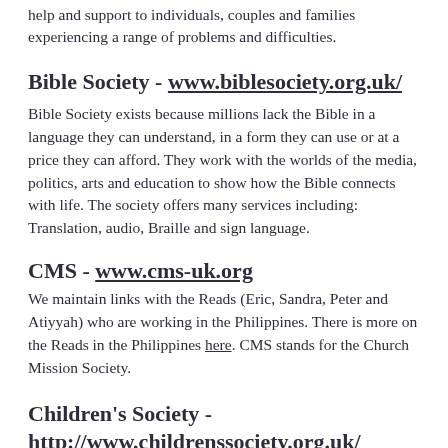help and support to individuals, couples and families experiencing a range of problems and difficulties.
Bible Society - www.biblesociety.org.uk/
Bible Society exists because millions lack the Bible in a language they can understand, in a form they can use or at a price they can afford. They work with the worlds of the media, politics, arts and education to show how the Bible connects with life. The society offers many services including: Translation, audio, Braille and sign language.
CMS - www.cms-uk.org
We maintain links with the Reads (Eric, Sandra, Peter and Atiyyah) who are working in the Philippines. There is more on the Reads in the Philippines here. CMS stands for the Church Mission Society.
Children's Society - http://www.childrenssociety.org.uk/